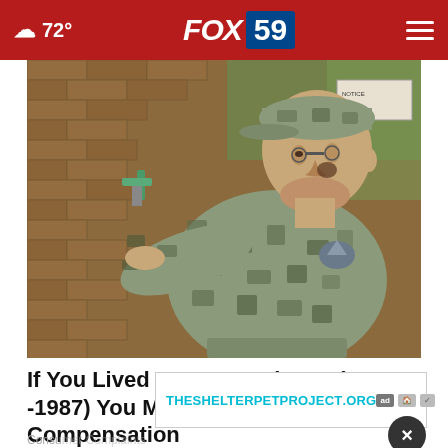☁ 72° | FOX 59
[Figure (photo): A soldier in digital camouflage uniform and cap crouching against a brick wall, examining or working on a water pipe/spigot attached to the wall. Outdoor setting with vegetation visible in background.]
If You Lived at Camp Lejeune (1953 -1987) You May Be Owed Compensation
Consu...
[Figure (screenshot): Advertisement banner for THESHELTERPETPROJECT.ORG with ad choice icons]